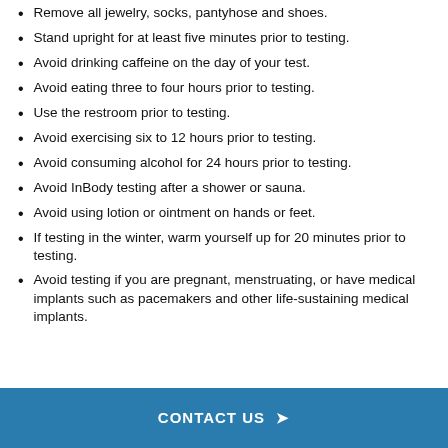Remove all jewelry, socks, pantyhose and shoes.
Stand upright for at least five minutes prior to testing.
Avoid drinking caffeine on the day of your test.
Avoid eating three to four hours prior to testing.
Use the restroom prior to testing.
Avoid exercising six to 12 hours prior to testing.
Avoid consuming alcohol for 24 hours prior to testing.
Avoid InBody testing after a shower or sauna.
Avoid using lotion or ointment on hands or feet.
If testing in the winter, warm yourself up for 20 minutes prior to testing.
Avoid testing if you are pregnant, menstruating, or have medical implants such as pacemakers and other life-sustaining medical implants.
CONTACT US